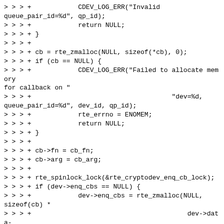> > > +		CDEV_LOG_ERR("Invalid queue_pair_id=%d", qp_id);
> > > +		return NULL;
> > > + }
> > > +
> > > + cb = rte_zmalloc(NULL, sizeof(*cb), 0);
> > > + if (cb == NULL) {
> > > +		CDEV_LOG_ERR("Failed to allocate memory for callback on "
> > > +					"dev=%d, queue_pair_id=%d", dev_id, qp_id);
> > > +		rte_errno = ENOMEM;
> > > +		return NULL;
> > > + }
> > > +
> > > + cb->fn = cb_fn;
> > > + cb->arg = cb_arg;
> > > +
> > > + rte_spinlock_lock(&rte_cryptodev_enq_cb_lock);
> > > + if (dev->enq_cbs == NULL) {
> > > +		dev->enq_cbs = rte_zmalloc(NULL, sizeof(cb) *
> > > +							dev->data->nb_queue_pairs, 0);
> > > +		if (dev->enq_cbs == NULL) {
> > > +			CDEV_LOG_ERR("Failed to allocate memory for callbacks");
> > > +			rte_errno = ENOMEM;
> > > +			rte_free(cb);